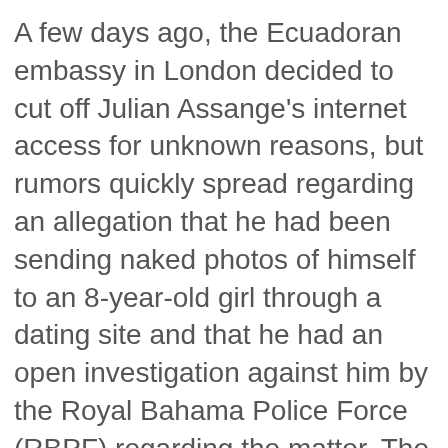A few days ago, the Ecuadoran embassy in London decided to cut off Julian Assange's internet access for unknown reasons, but rumors quickly spread regarding an allegation that he had been sending naked photos of himself to an 8-year-old girl through a dating site and that he had an open investigation against him by the Royal Bahama Police Force (RBPF) regarding the matter. The claim is absolutely false and, as it turns out, looks to have been fabricated by a contracted company named Premise Data Corporation in San Francisco, according to a very curious reddit user.
The allegation that Assange was being investigated, and the story that went along with it, broke through Daily Kos, a website where anyone can sign up and post articles related to politics. The article has since